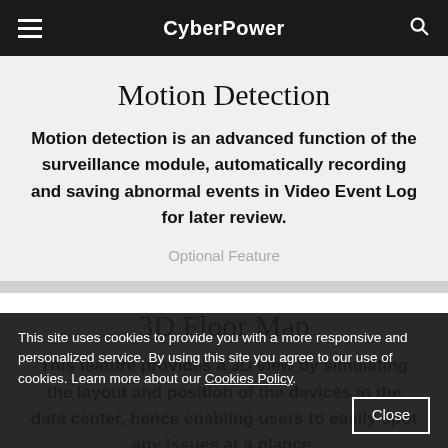CyberPower
Motion Detection
Motion detection is an advanced function of the surveillance module, automatically recording and saving abnormal events in Video Event Log for later review.
Optional Feature
3D Floor Map
This feature provides a 3D view by simulating the layout and position of the devices in the data center, hence enabling users to easily spot any issues at a glance.
This site uses cookies to provide you with a more responsive and personalized service. By using this site you agree to our use of cookies. Learn more about our Cookies Policy.